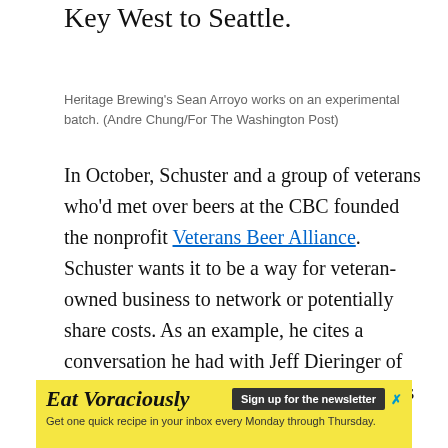Key West to Seattle.
Heritage Brewing's Sean Arroyo works on an experimental batch. (Andre Chung/For The Washington Post)
In October, Schuster and a group of veterans who'd met over beers at the CBC founded the nonprofit Veterans Beer Alliance. Schuster wants it to be a way for veteran-owned business to network or potentially share costs. As an example, he cites a conversation he had with Jeff Dieringer of the Fort Washington-based beer distributors DOPS. “The first 15 minutes was all about beer. The rest was what he did in the Army, what I did in the Navy,” Schuster says. Schubros recently reached an agreement to have DOPS handle the brewery’s upcoming launch in the
[Figure (other): Advertisement banner for 'Eat Voraciously' newsletter with yellow background, sign up button, and tagline 'Get one quick recipe in your inbox every Monday through Thursday.']